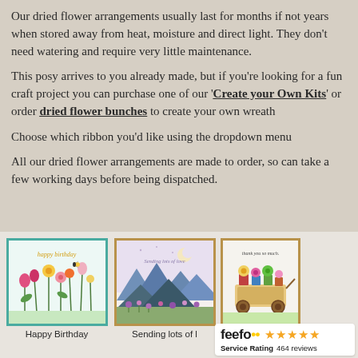Our dried flower arrangements usually last for months if not years when stored away from heat, moisture and direct light. They don't need watering and require very little maintenance.
This posy arrives to you already made, but if you're looking for a fun craft project you can purchase one of our 'Create your Own Kits' or order dried flower bunches to create your own wreath
Choose which ribbon you'd like using the dropdown menu
All our dried flower arrangements are made to order, so can take a few working days before being dispatched.
[Figure (photo): Three greeting cards displayed side by side on a light beige background. Left card has a teal border with a 'Happy Birthday' flowers illustration. Middle card has a kraft border with 'Sending lots of love' mountain/moon scene. Right card has a kraft border with 'thank you so much' flower cart illustration. A Feefo Service Rating badge with 5 stars and 464 reviews is overlaid on the bottom right.]